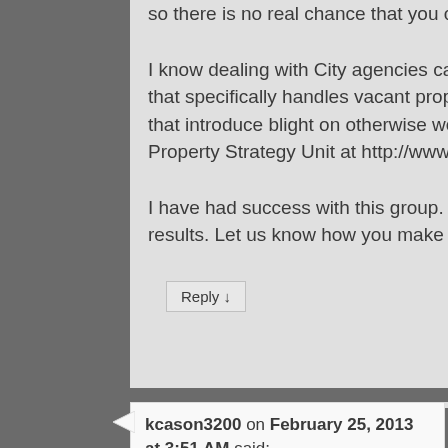so there is no real chance that you can force it to a sheriff sale.
I know dealing with City agencies can be frustrating, but there is a dedicated group in L&I that specifically handles vacant property, and they really do instigate action on properties that introduce blight on otherwise well-kept blocks. I urge you to log on to the City's Vacant Property Strategy Unit at http://www.phila.gov/li/aboutus/Pages/VacantPropertyStrategy.a
I have had success with this group. Although it may take some time, there will be eventual results. Let us know how you make out.
Reply ↓
kcason3200 on February 25, 2013 at 3:51 AM said: